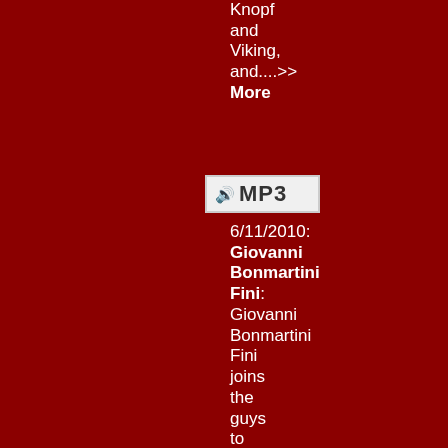Knopf and Viking, and....>> More
[Figure (other): MP3 audio badge button with speaker icon]
6/11/2010: Giovanni Bonmartini Fini: Giovanni Bonmartini Fini joins the guys to discuss the Pinot Grigio and Merlot that he makes at his family's